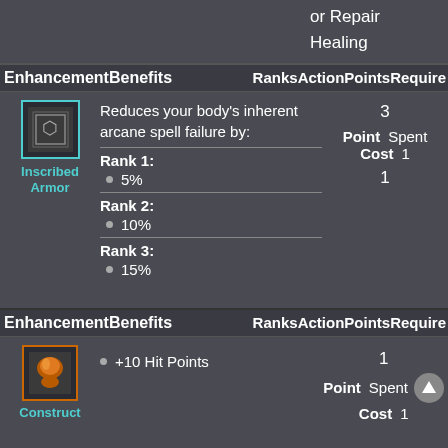or Repair
Healing
| Enhancement | Benefits | Ranks | Action Points | Required |
| --- | --- | --- | --- | --- |
| Inscribed Armor | Reduces your body's inherent arcane spell failure by:
Rank 1:
• 5%
Rank 2:
• 10%
Rank 3:
• 15% | 3 | Point Cost 1 | Spent 1 |
| Enhancement | Benefits | Ranks | Action Points | Required |
| --- | --- | --- | --- | --- |
| Construct | +10 Hit Points | 1 | Point Cost 1 | Spent |